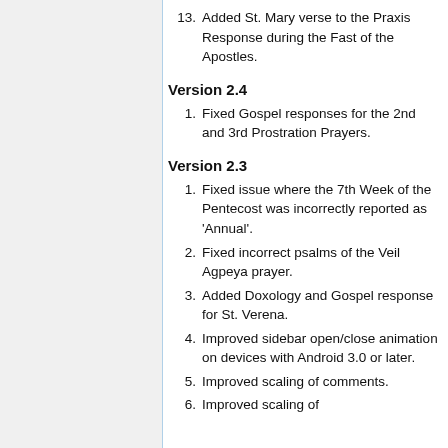13. Added St. Mary verse to the Praxis Response during the Fast of the Apostles.
Version 2.4
1. Fixed Gospel responses for the 2nd and 3rd Prostration Prayers.
Version 2.3
1. Fixed issue where the 7th Week of the Pentecost was incorrectly reported as 'Annual'.
2. Fixed incorrect psalms of the Veil Agpeya prayer.
3. Added Doxology and Gospel response for St. Verena.
4. Improved sidebar open/close animation on devices with Android 3.0 or later.
5. Improved scaling of comments.
6. Improved scaling of